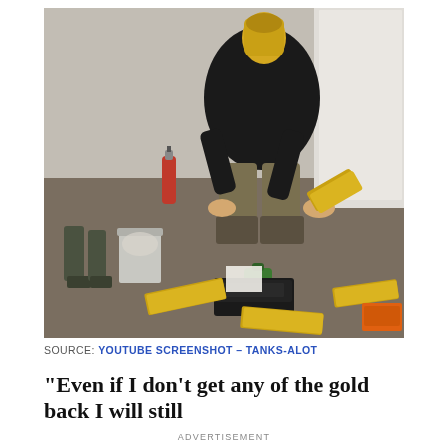[Figure (photo): A person crouching on a concrete floor holding a gold bar, wearing a gold mask on their face. Several gold bars and a digital scale are on the floor. Rubber boots, a trash can, a fire extinguisher, a green plastic bottle, and papers are visible in the background near a white wall with an electrical outlet.]
SOURCE: YOUTUBE SCREENSHOT – TANKS-ALOT
“Even if I don’t get any of the gold back I will still
ADVERTISEMENT